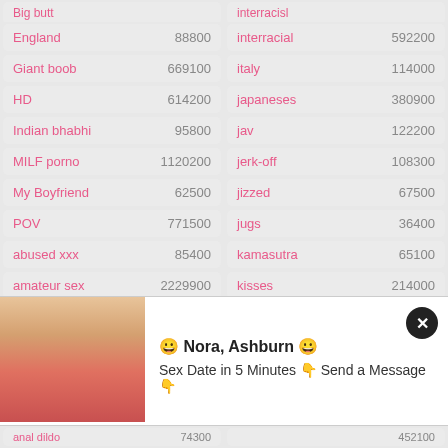England 88800
interracial 592200
Giant boob 669100
italy 114000
HD 614200
japaneses 380900
Indian bhabhi 95800
jav 122200
MILF porno 1120200
jerk-off 108300
My Boyfriend 62500
jizzed 67500
POV 771500
jugs 36400
abused xxx 85400
kamasutra 65100
amateur sex 2229900
kisses 214000
amazing 51900
korean xxx 48300
[Figure (photo): Advertisement overlay with photo of a blonde woman and text: Nora, Ashburn - Sex Date in 5 Minutes, Send a Message]